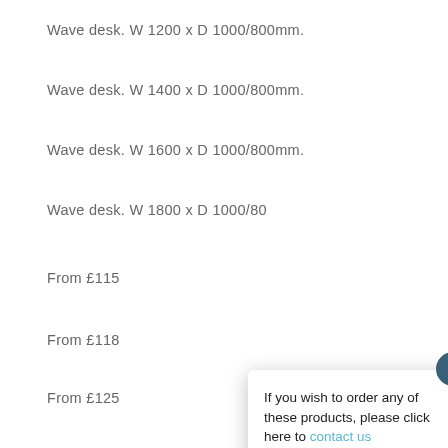Wave desk. W 1200 x D 1000/800mm.
Wave desk. W 1400 x D 1000/800mm.
Wave desk. W 1600 x D 1000/800mm.
Wave desk. W 1800 x D 1000/80
From £115
From £118
From £125
From £135
From £142
If you wish to order any of these products, please click here to contact us